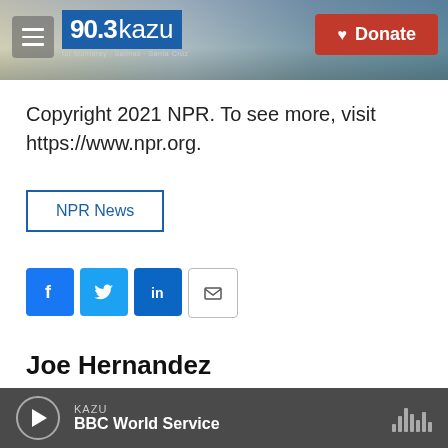[Figure (screenshot): KAZU 90.3 radio station website header banner with coastal landscape background, hamburger menu icon, 90.3 KAZU logo, and red Donate button]
Copyright 2021 NPR. To see more, visit https://www.npr.org.
NPR News
[Figure (other): Social media sharing buttons: Facebook (blue), Twitter (blue), LinkedIn (blue), Email (white with border)]
Joe Hernandez
See stories by Joe Hernandez
KAZU BBC World Service